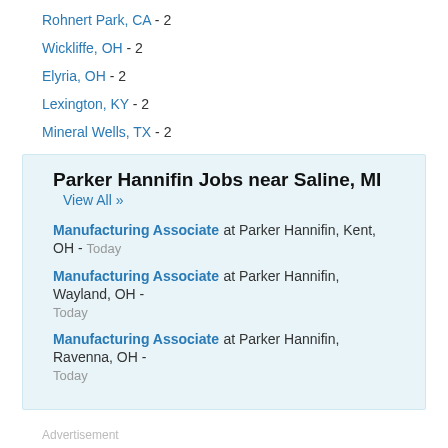Rohnert Park, CA - 2
Wickliffe, OH - 2
Elyria, OH - 2
Lexington, KY - 2
Mineral Wells, TX - 2
Parker Hannifin Jobs near Saline, MI
View All »
Manufacturing Associate at Parker Hannifin, Kent, OH - Today
Manufacturing Associate at Parker Hannifin, Wayland, OH - Today
Manufacturing Associate at Parker Hannifin, Ravenna, OH - Today
Advertisement